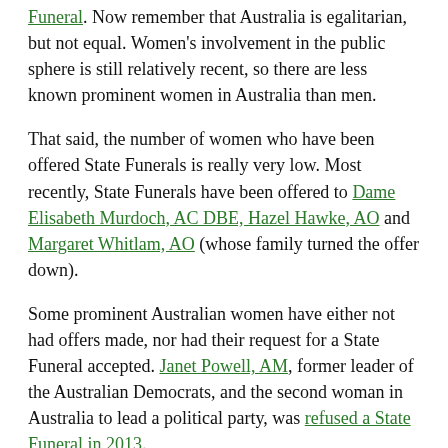Funeral. Now remember that Australia is egalitarian, but not equal. Women's involvement in the public sphere is still relatively recent, so there are less known prominent women in Australia than men.
That said, the number of women who have been offered State Funerals is really very low. Most recently, State Funerals have been offered to Dame Elisabeth Murdoch, AC DBE, Hazel Hawke, AO and Margaret Whitlam, AO (whose family turned the offer down).
Some prominent Australian women have either not had offers made, nor had their request for a State Funeral accepted. Janet Powell, AM, former leader of the Australian Democrats, and the second woman in Australia to lead a political party, was refused a State Funeral in 2013.
In the last few weeks of her life, a number of women assisted Janet's family to make a formal request to the